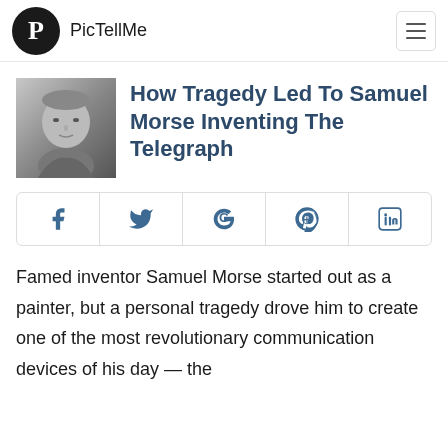PicTellMe
How Tragedy Led To Samuel Morse Inventing The Telegraph
[Figure (other): Social share buttons: Facebook, Twitter, Google, Pinterest, LinkedIn]
Famed inventor Samuel Morse started out as a painter, but a personal tragedy drove him to create one of the most revolutionary communication devices of his day — the